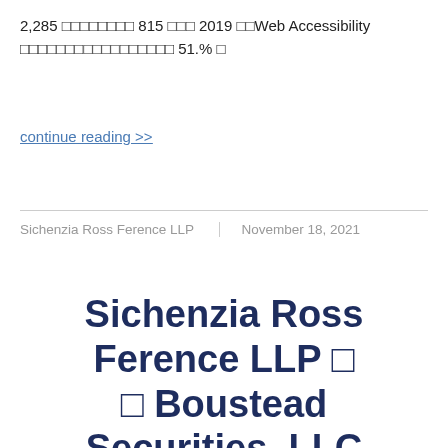2,285 □□□□□□□□ 815 □□□ 2019 □□Web Accessibility □□□□□□□□□□□□□□□□□ 51.% □
continue reading >>
Sichenzia Ross Ference LLP | November 18, 2021
Sichenzia Ross Ference LLP □ □ Boustead Securities, LLC